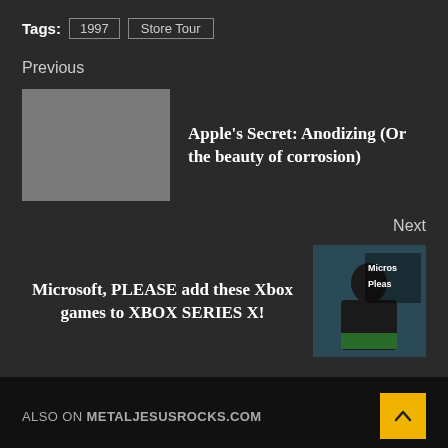Tags: 1997  Store Tour
Previous
Apple's Secret: Anodizing (Or the beauty of corrosion)
Next
Microsoft, PLEASE add these Xbox games to XBOX SERIES X!
ALSO ON METALJESUSROCKS.COM
[Figure (photo): Thumbnail image left - blurred store/shelf photo]
[Figure (photo): Thumbnail image right - dark/black photo]